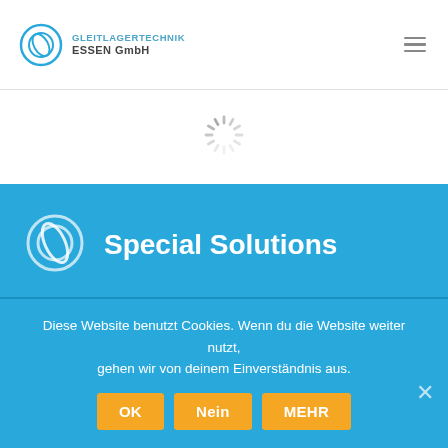GLEITLAGERTECHNIK ESSEN GmbH
[Figure (other): Loading spinner animation indicator]
Special Solutions
Wherever there is no standard solution. we are used.
Diese Website benutzt Cookies. Wenn du die Website weiter nutzt, gehen wir von deinem Einverständnis aus.
OK
Nein
MEHR